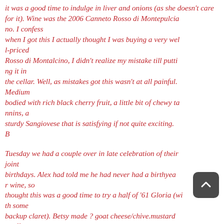it was a good time to indulge in liver and onions (as she doesn't care for it). Wine was the 2006 Canneto Rosso di Montepulciano. I confess when I got this I actually thought I was buying a very well-priced Rosso di Montalcino, I didn't realize my mistake till putting it in the cellar. Well, as mistakes got this wasn't at all painful. Medium bodied with rich black cherry fruit, a little bit of chewy tannins, a sturdy Sangiovese that is satisfying if not quite exciting. B
Tuesday we had a couple over in late celebration of their joint birthdays. Alex had told me he had never had a birthyear wine, so thought this was a good time to try a half of '61 Gloria (with some backup claret). Betsy made ? goat cheese/chive.mustard souffles as starter, followed by squab in a porcini marinade with ma